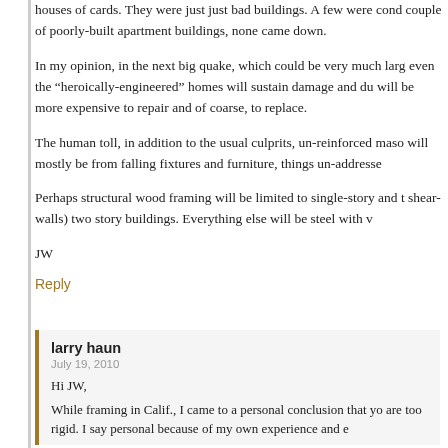houses of cards. They were just just bad buildings. A few were cond couple of poorly-built apartment buildings, none came down.
In my opinion, in the next big quake, which could be very much larg even the “heroically-engineered” homes will sustain damage and du will be more expensive to repair and of coarse, to replace.
The human toll, in addition to the usual culprits, un-reinforced maso will mostly be from falling fixtures and furniture, things un-addresse
Perhaps structural wood framing will be limited to single-story and t shear-walls) two story buildings. Everything else will be steel with v
JW
Reply
larry haun
July 19, 2010
Hi JW,
While framing in Calif., I came to a personal conclusion that yo are too rigid. I say personal because of my own experience and e